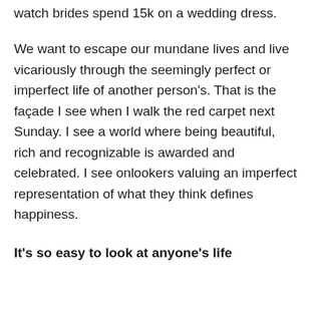watch brides spend 15k on a wedding dress.
We want to escape our mundane lives and live vicariously through the seemingly perfect or imperfect life of another person's. That is the façade I see when I walk the red carpet next Sunday. I see a world where being beautiful, rich and recognizable is awarded and celebrated. I see onlookers valuing an imperfect representation of what they think defines happiness.
It's so easy to look at anyone's life